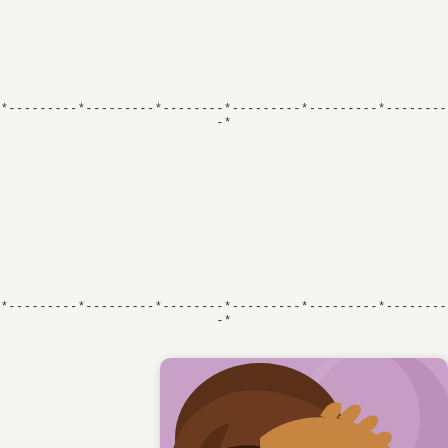*---------*---------*--------*---------*---------*---------*
*---------*---------*--------*---------*---------*---------*
[Figure (illustration): A painting of a person of color with their mouth open in a scream or cry, with a hand raised near their face, against a purple background.]
Funds for Kevin Cooper
https://www.gofundme.com/fu